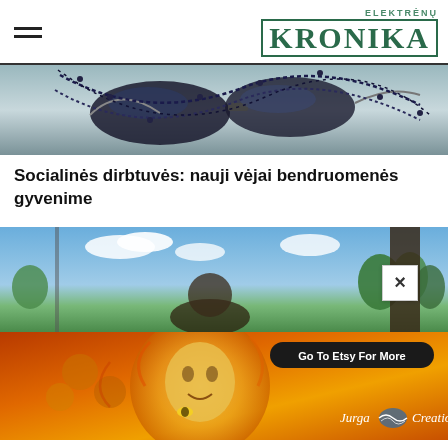ELEKTRĖNŲ KRONIKA
[Figure (photo): Close-up photo of sunglasses with dark beaded necklaces/chains draped over them against a neutral background]
Socialinės dirbtuvės: nauji vėjai bendruomenės gyvenime
[Figure (photo): Photo of a person outdoors with trees and blue sky in the background, with a dark vertical structure visible on the right side. A close button (×) is overlaid in the top right corner.]
[Figure (illustration): Advertisement banner for Jurga Creations on Etsy featuring a colorful painting of a face surrounded by honeycomb patterns and warm orange tones. Includes 'Go To Etsy For More' button and Jurga Creations logo.]